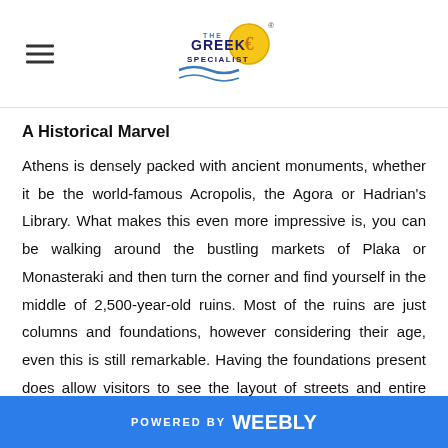The Greek Specialist [logo]
A Historical Marvel
Athens is densely packed with ancient monuments, whether it be the world-famous Acropolis, the Agora or Hadrian's Library. What makes this even more impressive is, you can be walking around the bustling markets of Plaka or Monasteraki and then turn the corner and find yourself in the middle of 2,500-year-old ruins. Most of the ruins are just columns and foundations, however considering their age, even this is still remarkable. Having the foundations present does allow visitors to see the layout of streets and entire areas
POWERED BY weebly